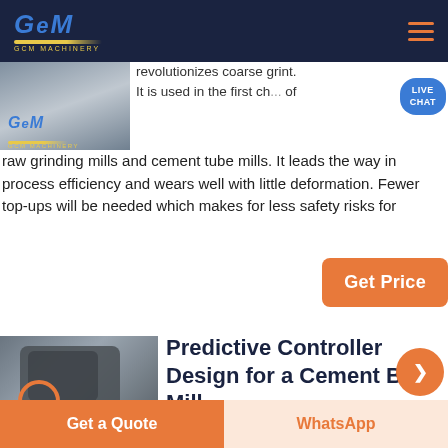GCM Machinery
[Figure (photo): GCM Machinery logo on industrial equipment background]
revolutionizes coarse grint. It is used in the first ch... of raw grinding mills and cement tube mills. It leads the way in process efficiency and wears well with little deformation. Fewer top-ups will be needed which makes for less safety risks for
[Figure (photo): Large industrial cement ball mill machine in factory setting with GCM logo]
Predictive Controller Design for a Cement Ball Mill